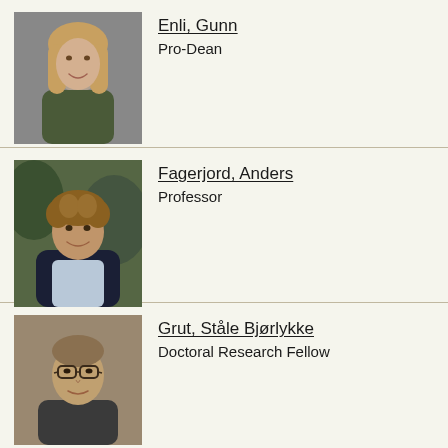[Figure (photo): Professional headshot of Gunn Enli, a woman with long blonde hair wearing a dark olive jacket]
Enli, Gunn
Pro-Dean
[Figure (photo): Professional headshot of Anders Fagerjord, a man with curly brown hair wearing a dark navy sweater]
Fagerjord, Anders
Professor
[Figure (photo): Professional headshot of Ståle Bjørlykke Grut, a man with short hair wearing glasses]
Grut, Ståle Bjørlykke
Doctoral Research Fellow